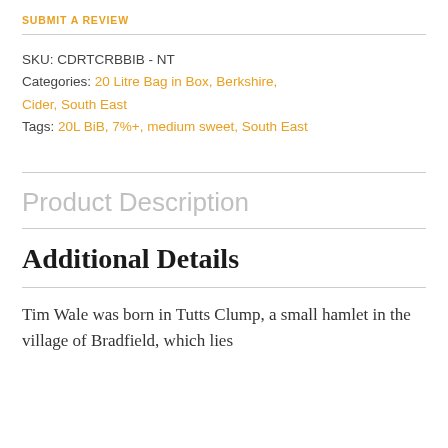SUBMIT A REVIEW
SKU: CDRTCRBBIB - NT
Categories: 20 Litre Bag in Box, Berkshire, Cider, South East
Tags: 20L BiB, 7%+, medium sweet, South East
Product Description
Additional Details
Tim Wale was born in Tutts Clump, a small hamlet in the village of Bradfield, which lies